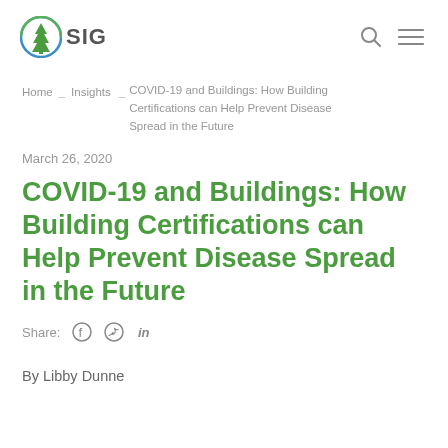SIG logo and navigation icons
Home _ Insights _ COVID-19 and Buildings: How Building Certifications can Help Prevent Disease Spread in the Future
March 26, 2020
COVID-19 and Buildings: How Building Certifications can Help Prevent Disease Spread in the Future
Share: Facebook Twitter LinkedIn
By Libby Dunne